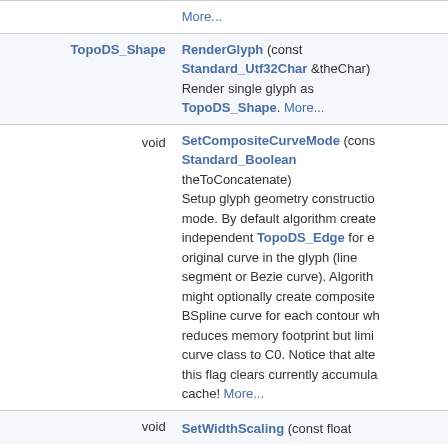| Return Type | Method/Description |
| --- | --- |
|  | More... |
| TopoDS_Shape | RenderGlyph (const Standard_Utf32Char &theChar)
Render single glyph as TopoDS_Shape. More... |
| void | SetCompositeCurveMode (const Standard_Boolean theToConcatenate)
Setup glyph geometry construction mode. By default algorithm creates independent TopoDS_Edge for each original curve in the glyph (line segment or Bezie curve). Algorithm might optionally create composite BSpline curve for each contour which reduces memory footprint but limits curve class to C0. Notice that altering this flag clears currently accumulated cache! More... |
| void | SetWidthScaling (const float |